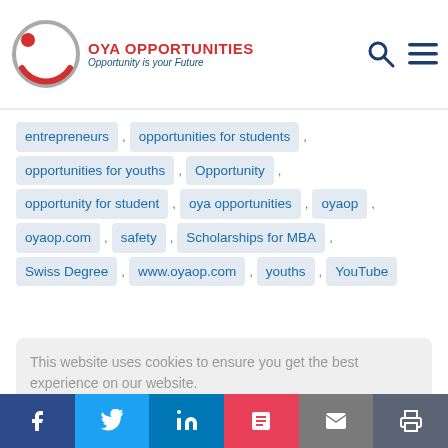[Figure (logo): OYA Opportunities logo with circular icon and text 'OYA OPPORTUNITIES / Opportunity is your Future']
entrepreneurs , opportunities for students , opportunities for youths , Opportunity , opportunity for student , oya opportunities , oyaop , oyaop.com , safety , Scholarships for MBA , Swiss Degree , www.oyaop.com , youths , YouTube
This website uses cookies to ensure you get the best experience on our website. Learn more
Got it!